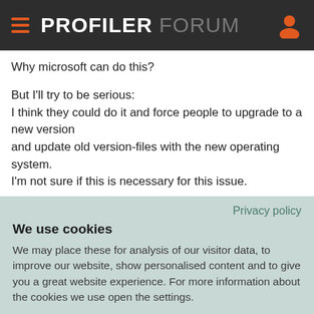PROFILER FORUM
Why microsoft can do this?
But I'll try to be serious:
I think they could do it and force people to upgrade to a new version and update old version-files with the new operating system.
I'm not sure if this is necessary for this issue.
Privacy policy
We use cookies
We may place these for analysis of our visitor data, to improve our website, show personalised content and to give you a great website experience. For more information about the cookies we use open the settings.
ACCEPT ALL
DENY
NO, ADJUST